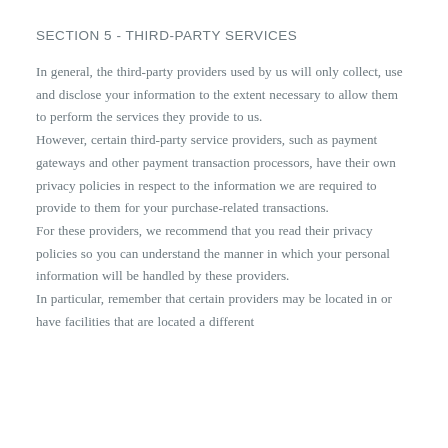SECTION 5 - THIRD-PARTY SERVICES
In general, the third-party providers used by us will only collect, use and disclose your information to the extent necessary to allow them to perform the services they provide to us. However, certain third-party service providers, such as payment gateways and other payment transaction processors, have their own privacy policies in respect to the information we are required to provide to them for your purchase-related transactions. For these providers, we recommend that you read their privacy policies so you can understand the manner in which your personal information will be handled by these providers. In particular, remember that certain providers may be located in or have facilities that are located a different